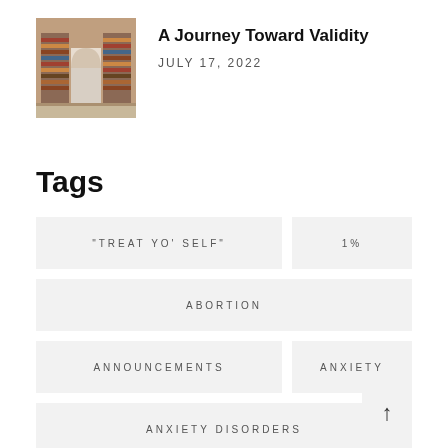[Figure (photo): Thumbnail photo of a library or bookshop interior with arched doorway and bookshelves]
A Journey Toward Validity
JULY 17, 2022
Tags
"TREAT YO' SELF"
1%
ABORTION
ANNOUNCEMENTS
ANXIETY
ANXIETY DISORDERS